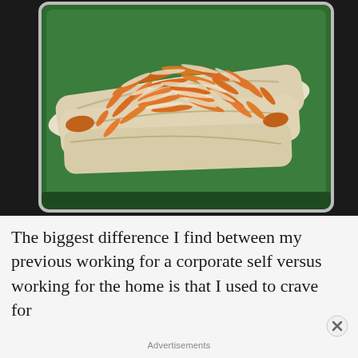[Figure (photo): A green rectangular plate/tray on a dark background, topped with rolled wraps or crepes filled with stuffing, garnished heavily with shredded carrots and grated cheese or coconut on top.]
The biggest difference I find between my previous working for a corporate self versus working for the home is that I used to crave for
Advertisements